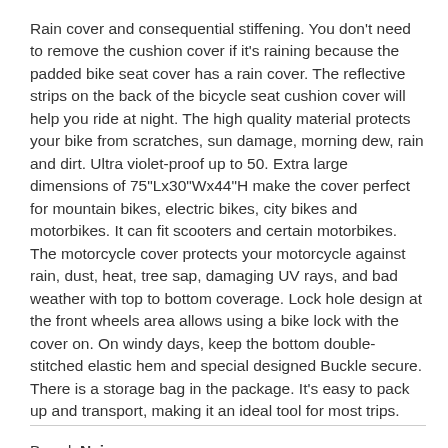Rain cover and consequential stiffening. You don't need to remove the cushion cover if it's raining because the padded bike seat cover has a rain cover. The reflective strips on the back of the bicycle seat cushion cover will help you ride at night. The high quality material protects your bike from scratches, sun damage, morning dew, rain and dirt. Ultra violet-proof up to 50. Extra large dimensions of 75"Lx30"Wx44"H make the cover perfect for mountain bikes, electric bikes, city bikes and motorbikes. It can fit scooters and certain motorbikes. The motorcycle cover protects your motorcycle against rain, dust, heat, tree sap, damaging UV rays, and bad weather with top to bottom coverage. Lock hole design at the front wheels area allows using a bike lock with the cover on. On windy days, keep the bottom double-stitched elastic hem and special designed Buckle secure. There is a storage bag in the package. It's easy to pack up and transport, making it an ideal tool for most trips.
Brand: Naizea